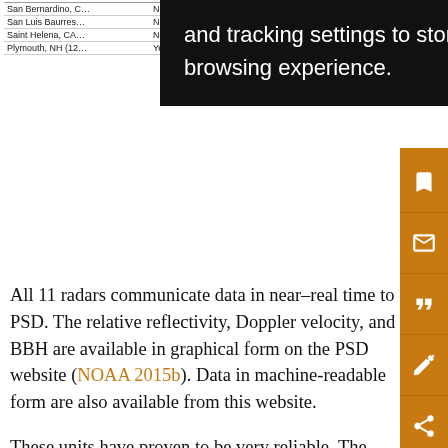| Location | Value |
| --- | --- |
| San Bernardino, C… | No |
| San Luis Baurres… | No |
| Saint Helena, CA… | No |
| Plymouth, NH (12… | Yes |
and tracking settings to store information that help give you the very best browsing experience.
All 11 radars communicate data in near–real time to PSD. The relative reflectivity, Doppler velocity, and BBH are available in graphical form on the PSD website (NOAA 2015b). Data in machine-readable form are also available from this website.
These units have proven to be very reliable. The most common causes of loss of data are loss of communication with the SLR, or a loss of power to the SLR. The SLR has proven ability to measure BBH levels with 10-min periods. Examination of the real-time data from the Colafax, Shasta Dam, and New Exchequer Dam profilers from the wall-time data as well through end of 2015 showed...